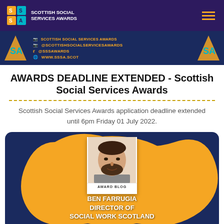Scottish Social Services Awards
[Figure (screenshot): Social media banner with Scottish Social Services Awards branding showing @scottishsocialservicesawards, @sssawards, www.sssa.scot]
AWARDS DEADLINE EXTENDED - Scottish Social Services Awards
Scottish Social Services Awards application deadline extended until 6pm Friday 01 July 2022.
[Figure (photo): Award blog card featuring Ben Farrugia, Director of Social Work Scotland, with his photo on a dark blue and orange background]